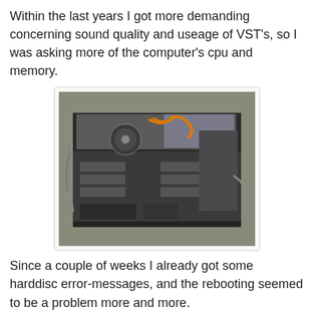Within the last years I got more demanding concerning sound quality and useage of VST's, so I was asking more of the computer's cpu and memory.
[Figure (photo): An open computer tower case with the side panel removed, showing internal components including a fan and cables. The case is a dark grey/black rack-style chassis sitting on a carpeted floor.]
Since a couple of weeks I already got some harddisc error-messages, and the rebooting seemed to be a problem more and more.
Recently I didn't manage to get the pc turned on anymore.
When switching on the computer, only the fan started to rotate.
Although I did already plan to buy a new system somewhere later this year, I was really hoping for a replacement after the upcoming "Chill at the Castle - Electric Edition", for which I